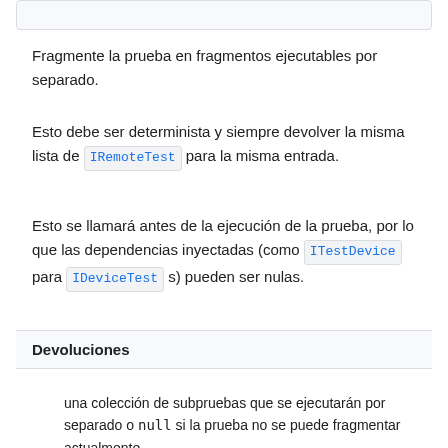Fragmente la prueba en fragmentos ejecutables por separado.
Esto debe ser determinista y siempre devolver la misma lista de IRemoteTest para la misma entrada.
Esto se llamará antes de la ejecución de la prueba, por lo que las dependencias inyectadas (como ITestDevice para IDeviceTest s) pueden ser nulas.
| Devoluciones |
| --- |
una colección de subpruebas que se ejecutarán por separado o null si la prueba no se puede fragmentar actualmente